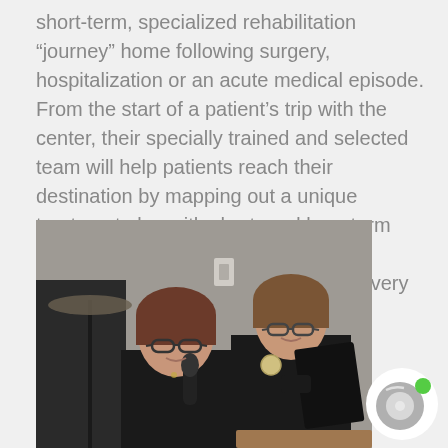short-term, specialized rehabilitation “journey” home following surgery, hospitalization or an acute medical episode. From the start of a patient’s trip with the center, their specially trained and selected team will help patients reach their destination by mapping out a unique treatment plan with short- and long-term goals that focus on exactly what the individual needs to optimize their recovery and return home.
[Figure (photo): Two women standing together, one speaking into a microphone and holding a black folder, the other standing beside her. Both are wearing dark clothing. A drum cymbal stand is visible in the background on the left.]
[Figure (other): Small circular icon with a gray and white disc design and a green dot, resembling a CD or badge icon.]